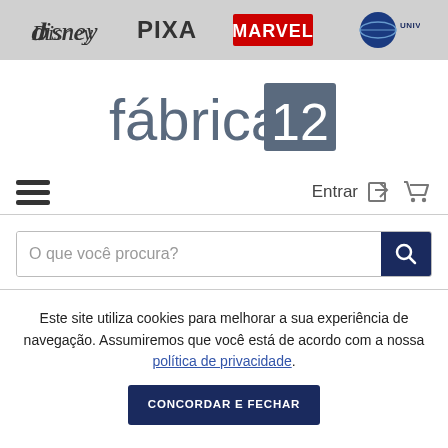[Figure (logo): Brand bar with Disney, Pixar, Marvel, Universal logos on grey background]
[Figure (logo): Fábrica 12 logo — text 'fábrica' in grey with '12' in white on dark grey square]
[Figure (screenshot): Navigation bar with hamburger menu on left and Entrar login icon and cart icon on right]
[Figure (screenshot): Search bar with placeholder text 'O que você procura?' and dark blue search button]
Este site utiliza cookies para melhorar a sua experiência de navegação. Assumiremos que você está de acordo com a nossa política de privacidade.
CONCORDAR E FECHAR